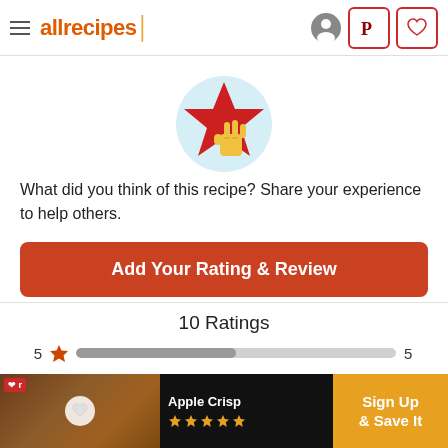allrecipes
[Figure (illustration): A hand cursor pointing at a red star icon on a light blue circular background]
What did you think of this recipe? Share your experience to help others.
Add Your Rating & Review
10 Ratings
[Figure (infographic): Rating breakdown bar chart showing 5 stars: 5 ratings, 4 stars: 4 ratings]
[Figure (infographic): Advertisement banner for Apple Crisp recipe with Sign Up & Save It call to action]